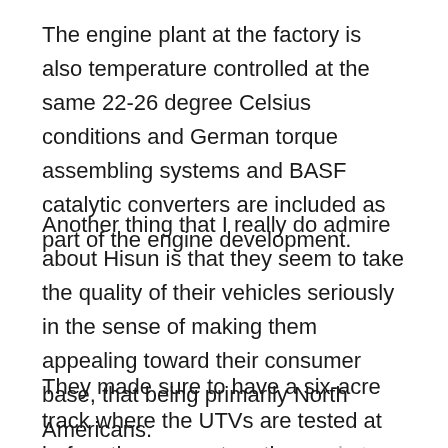The engine plant at the factory is also temperature controlled at the same 22-26 degree Celsius conditions and German torque assembling systems and BASF catalytic converters are included as part of the engine development.
Another thing that I really do admire about Hisun is that they seem to take the quality of their vehicles seriously in the sense of making them appealing toward their consumer base, that being primarily North Americans.
They made sure to have a six-acre track where the UTVs are tested at before they are put on the market.